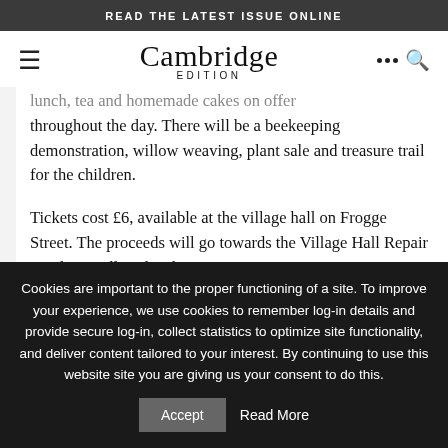READ THE LATEST ISSUE ONLINE
[Figure (logo): Cambridge Edition logo with hamburger menu and search icons in navigation bar]
lunch, tea and homemade cakes on offer throughout the day. There will be a beekeeping demonstration, willow weaving, plant sale and treasure trail for the children.
Tickets cost £6, available at the village hall on Frogge Street. The proceeds will go towards the Village Hall Repair Fund, as well as the charities Motor Neurone Disease Association and
Cookies are important to the proper functioning of a site. To improve your experience, we use cookies to remember log-in details and provide secure log-in, collect statistics to optimize site functionality, and deliver content tailored to your interest. By continuing to use this website site you are giving us your consent to do this.